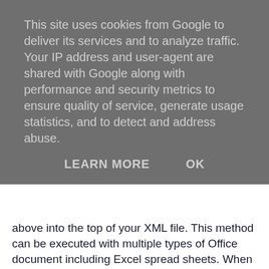This site uses cookies from Google to deliver its services and to analyze traffic. Your IP address and user-agent are shared with Google along with performance and security metrics to ensure quality of service, generate usage statistics, and to detect and address abuse.
LEARN MORE   OK
above into the top of your XML file. This method can be executed with multiple types of Office document including Excel spread sheets. When your victim opens this file they will be prompted to select an Office application to open it with if they have not opened an Office XML file before. If the target domain/host has a text editor assigned to read XML files by default, this attack is unlikely to work.
For further information on this attack, I highly recommend reading the article linked above.
Summary
Thank you for reading my practical guide to Responder, which builds upon my previous two guides for Intermediate and Advanced usage of the tool. If I find more ways to utilise